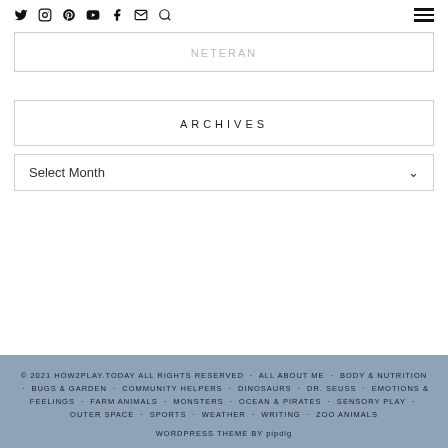Social icons: Twitter, Instagram, Pinterest, YouTube, Facebook, Email, Search | Hamburger menu
NETERAN (partial, faded)
ARCHIVES
Select Month
© 2021 HOW2PLAY.TODAY ALL RIGHTS RESERVED · ALL ABOUT ME · BODY & NUTRITION · BUGS & GARDEN · COMMUNITY HELPERS · DINOSAURS · DR. SEUSS · EMOTIONS & FEELINGS · FARM ANIMALS · MONSTERS · OCEAN & PIRATES · SENSORY PLAY · OUTER SPACE · SPORTS · WEATHER · WRITING · ZOO ANIMALS WORDPRESS THEME BY pipdig